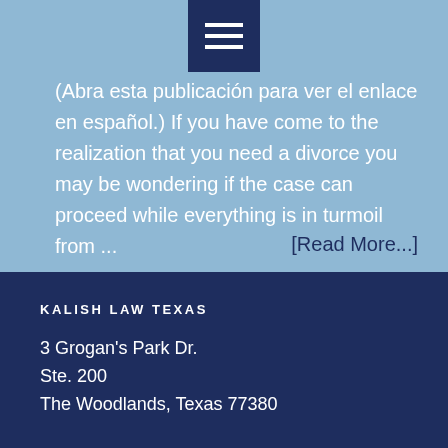(Abra esta publicación para ver el enlace en español.) If you have come to the realization that you need a divorce you may be wondering if the case can proceed while everything is in turmoil from ...
[Read More...]
KALISH LAW TEXAS
3 Grogan's Park Dr.
Ste. 200
The Woodlands, Texas 77380